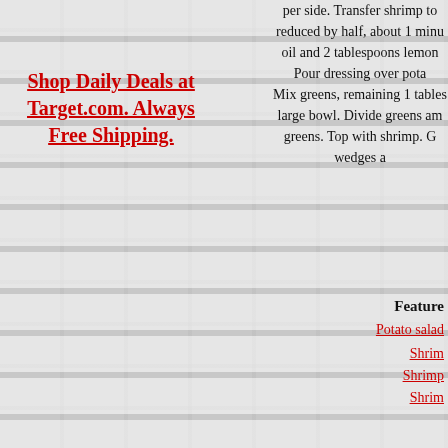per side. Transfer shrimp to reduced by half, about 1 minu oil and 2 tablespoons lemon Pour dressing over pota Mix greens, remaining 1 tables large bowl. Divide greens am greens. Top with shrimp. G wedges a
Shop Daily Deals at Target.com. Always Free Shipping.
Feature
Potato salad
Shrim
Shrimp
Shrim
Index - Sa
Index - Sala
Index Seafo
Daily.
Recipe